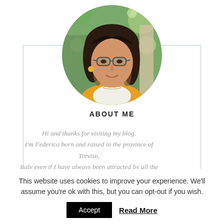[Figure (photo): Circular portrait photo of Federica, a woman with dark shoulder-length hair, glasses, and a yellow jacket, outdoors with green foliage background]
ABOUT ME
Hi and thanks for visiting my blog. I'm Federica born and raised in the province of Treviso, Italy even if I have always been attracted by all the other
This website uses cookies to improve your experience. We'll assume you're ok with this, but you can opt-out if you wish.
Accept   Read More